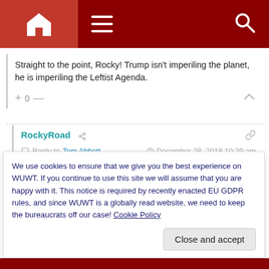Navigation bar with home, menu, and search icons
Straight to the point, Rocky! Trump isn't imperiling the planet, he is imperiling the Leftist Agenda.
+ 0 —
RockyRoad
Reply to Tom Abbott    December 28, 2018 10:29 am
But Tom, the Leftist Agenda IS a Globalist Planet!
We use cookies to ensure that we give you the best experience on WUWT. If you continue to use this site we will assume that you are happy with it. This notice is required by recently enacted EU GDPR rules, and since WUWT is a globally read website, we need to keep the bureaucrats off our case! Cookie Policy
Close and accept